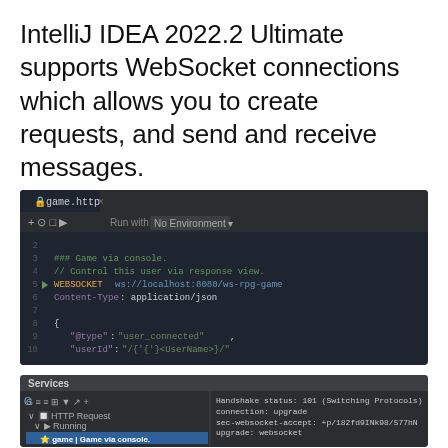IntelliJ IDEA 2022.2 Ultimate supports WebSocket connections which allows you to create requests, and send and receive messages.
[Figure (screenshot): IntelliJ IDEA code editor showing a WebSocket HTTP file with WEBSOCKET request to ws://localhost:8080/ws-rpg-game, Content-Type: application/json, and a JSON body with @type: user_connected and userId fields. Dark theme editor with line numbers.]
[Figure (screenshot): IntelliJ IDEA Services panel showing HTTP Request > Running > game | Game via console (selected, highlighted blue) and game | Game via script. Right panel shows Handshake status: 101 (Switching Protocols), connection: upgrade, sec-websocket-accept header value, upgrade: websocket.]